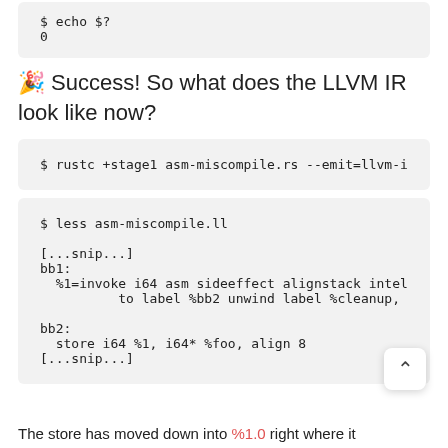$ echo $?
0
🎉 Success! So what does the LLVM IR look like now?
$ rustc +stage1 asm-miscompile.rs --emit=llvm-i
$ less asm-miscompile.ll

[...snip...]
bb1:
  %1=invoke i64 asm sideeffect alignstack intel
          to label %bb2 unwind label %cleanup,

bb2:
  store i64 %1, i64* %foo, align 8
[...snip...]
The store has moved down into %1.0 right where it